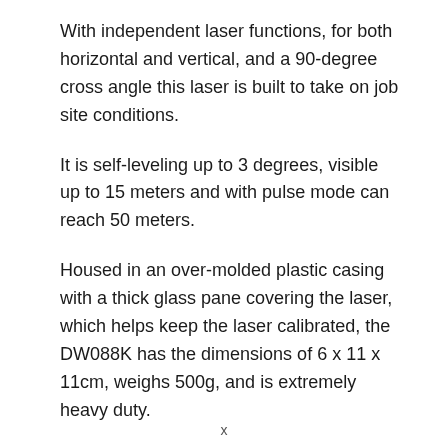With independent laser functions, for both horizontal and vertical, and a 90-degree cross angle this laser is built to take on job site conditions.
It is self-leveling up to 3 degrees, visible up to 15 meters and with pulse mode can reach 50 meters.
Housed in an over-molded plastic casing with a thick glass pane covering the laser, which helps keep the laser calibrated, the DW088K has the dimensions of 6 x 11 x 11cm, weighs 500g, and is extremely heavy duty.
It comes with a built-in magnetic pivot bracket enabling you to easily mount to metal surfaces.
x